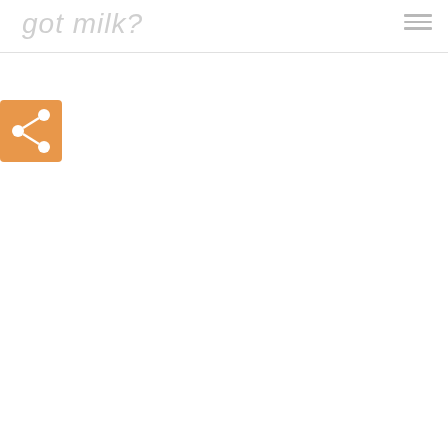got milk?
[Figure (logo): Share button icon - orange square with white social share symbol (connected nodes)]